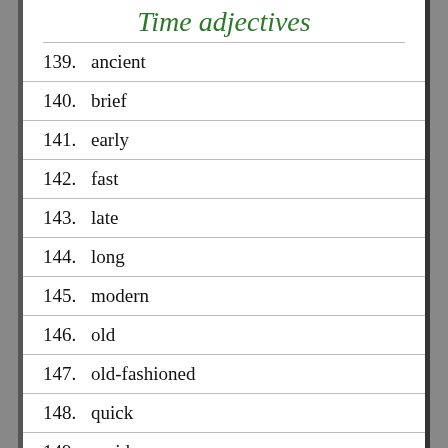Time adjectives
139. ancient
140. brief
141. early
142. fast
143. late
144. long
145. modern
146. old
147. old-fashioned
148. quick
149. rapid
150. short